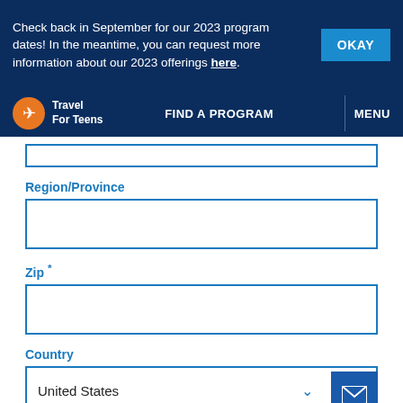Check back in September for our 2023 program dates! In the meantime, you can request more information about our 2023 offerings here.
[Figure (screenshot): Travel For Teens logo with airplane icon]
FIND A PROGRAM
MENU
Region/Province
Zip *
Country
United States